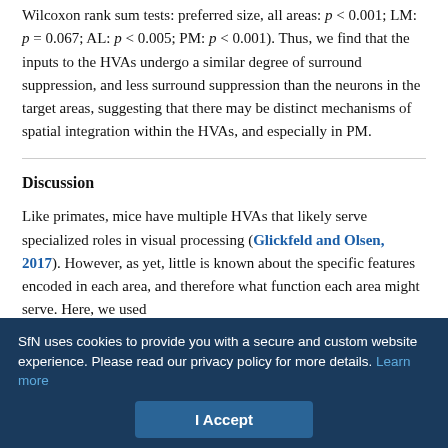Wilcoxon rank sum tests: preferred size, all areas: p < 0.001; LM: p = 0.067; AL: p < 0.005; PM: p < 0.001). Thus, we find that the inputs to the HVAs undergo a similar degree of surround suppression, and less surround suppression than the neurons in the target areas, suggesting that there may be distinct mechanisms of spatial integration within the HVAs, and especially in PM.
Discussion
Like primates, mice have multiple HVAs that likely serve specialized roles in visual processing (Glickfeld and Olsen, 2017). However, as yet, little is known about the specific features encoded in each area, and therefore what function each area might serve. Here, we used 2P…
SfN uses cookies to provide you with a secure and custom website experience. Please read our privacy policy for more details. Learn more